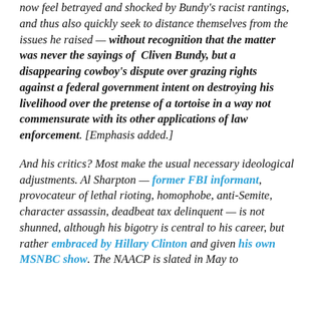now feel betrayed and shocked by Bundy's racist rantings, and thus also quickly seek to distance themselves from the issues he raised — without recognition that the matter was never the sayings of Cliven Bundy, but a disappearing cowboy's dispute over grazing rights against a federal government intent on destroying his livelihood over the pretense of a tortoise in a way not commensurate with its other applications of law enforcement. [Emphasis added.]
And his critics? Most make the usual necessary ideological adjustments. Al Sharpton — former FBI informant, provocateur of lethal rioting, homophobe, anti-Semite, character assassin, deadbeat tax delinquent — is not shunned, although his bigotry is central to his career, but rather embraced by Hillary Clinton and given his own MSNBC show. The NAACP is slated in May to